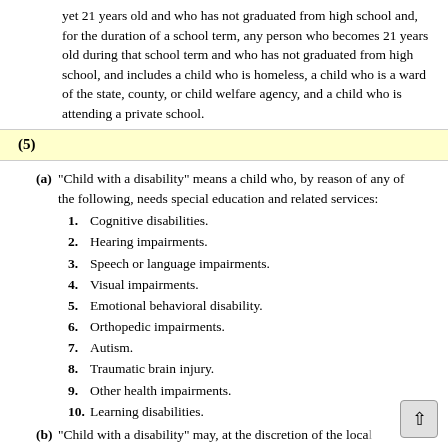yet 21 years old and who has not graduated from high school and, for the duration of a school term, any person who becomes 21 years old during that school term and who has not graduated from high school, and includes a child who is homeless, a child who is a ward of the state, county, or child welfare agency, and a child who is attending a private school.
(5)
(a) “Child with a disability” means a child who, by reason of any of the following, needs special education and related services:
1. Cognitive disabilities.
2. Hearing impairments.
3. Speech or language impairments.
4. Visual impairments.
5. Emotional behavioral disability.
6. Orthopedic impairments.
7. Autism.
8. Traumatic brain injury.
9. Other health impairments.
10. Learning disabilities.
(b) “Child with a disability” may, at the discretion of the local educational agency and consistent with department rule include a child who, by reason of his or her significant...